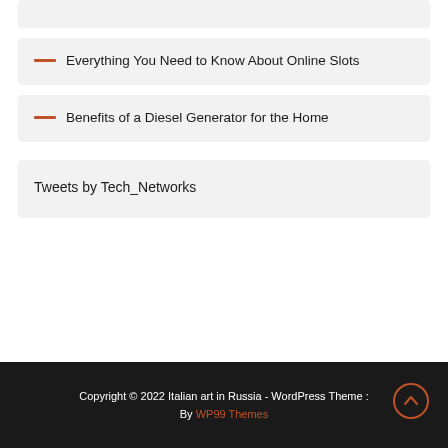Everything You Need to Know About Online Slots
Benefits of a Diesel Generator for the Home
Tweets by Tech_Networks
Copyright © 2022 Italian art in Russia - WordPress Theme : By WP99 Themes